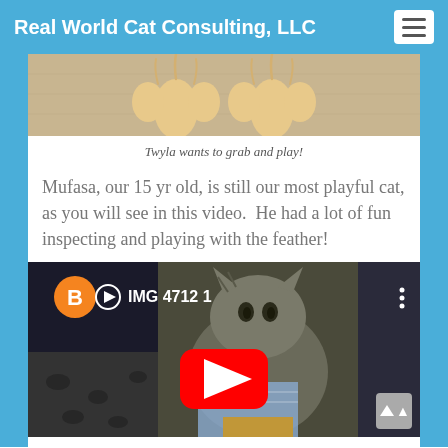Real World Cat Consulting, LLC
[Figure (photo): Close-up photo of cat paws on a carpet, showing claws/toes reaching toward camera]
Twyla wants to grab and play!
Mufasa, our 15 yr old, is still our most playful cat, as you will see in this video.  He had a lot of fun inspecting and playing with the feather!
[Figure (screenshot): YouTube video thumbnail showing a cat (Mufasa) with a red play button overlay, channel icon with letter B, and title 'IMG 4712 1']